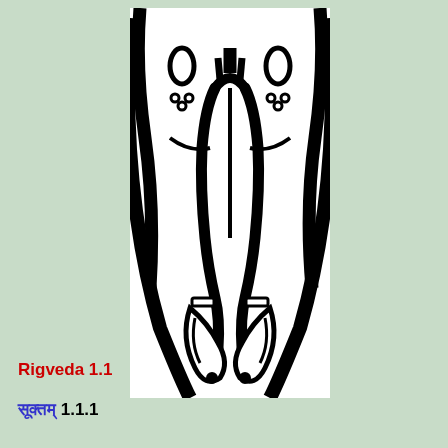[Figure (illustration): Black and white line drawing of a Hindu deity figure (partial, showing torso and hands in prayer/namaste gesture with jewelry and garlands), cropped closeup on white background]
Rigveda 1.1
सूक्तम् 1.1.1